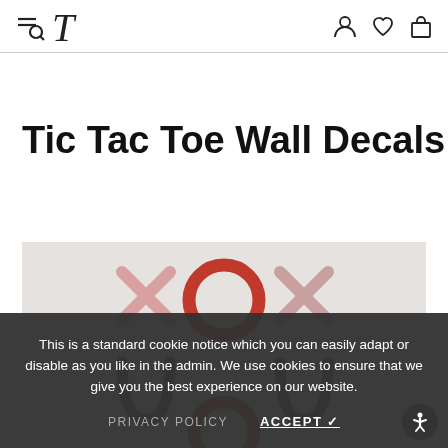Navigation header with menu, search, logo T, user account, wishlist, and cart icons
Tic Tac Toe Wall Decals
[Figure (photo): Product photo showing Tic Tac Toe wall decals — pink X marks, red O circles arranged on a light gray background in a tic tac toe grid pattern]
This is a standard cookie notice which you can easily adapt or disable as you like in the admin. We use cookies to ensure that we give you the best experience on our website.
PRIVACY POLICY   ACCEPT ✓